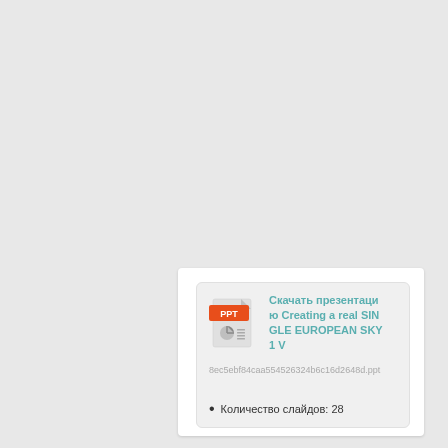[Figure (screenshot): A UI card element showing a PPT file download link. Contains a PPT icon, link text in teal 'Скачать презентацию Creating a real SINGLE EUROPEAN SKY 1 V', a filename hash, and a bullet point listing 'Количество слайдов: 28'.]